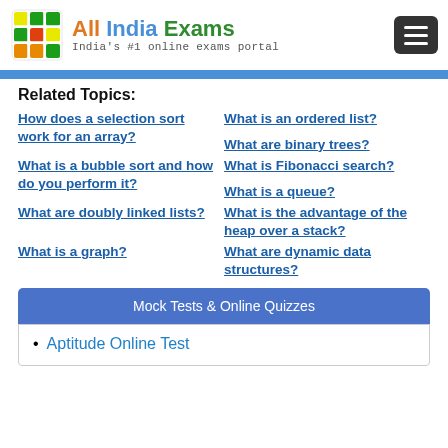All India Exams — India's #1 online exams portal
Related Topics:
How does a selection sort work for an array?
What is an ordered list?
What are binary trees?
What is a bubble sort and how do you perform it?
What is Fibonacci search?
What is a queue?
What are doubly linked lists?
What is the advantage of the heap over a stack?
What is a graph?
What are dynamic data structures?
Mock Tests & Online Quizzes
Aptitude Online Test